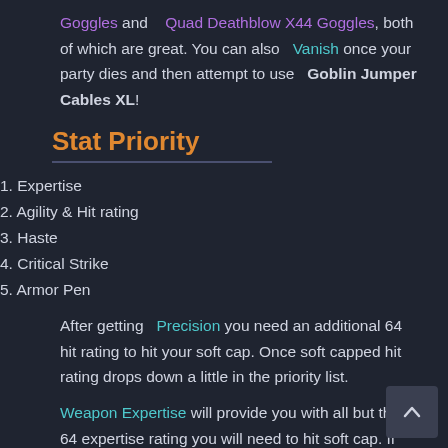Goggles and Quad Deathblow X44 Goggles, both of which are great. You can also Vanish once your party dies and then attempt to use Goblin Jumper Cables XL!
Stat Priority
1. Expertise
2. Agility & Hit rating
3. Haste
4. Critical Strike
5. Armor Pen
After getting Precision you need an additional 64 hit rating to hit your soft cap. Once soft capped hit rating drops down a little in the priority list.
Weapon Expertise will provide you with all but the 64 expertise rating you will need to hit soft cap. If you are a human using while using swords or maces you will only need 44 additional expertise rating.